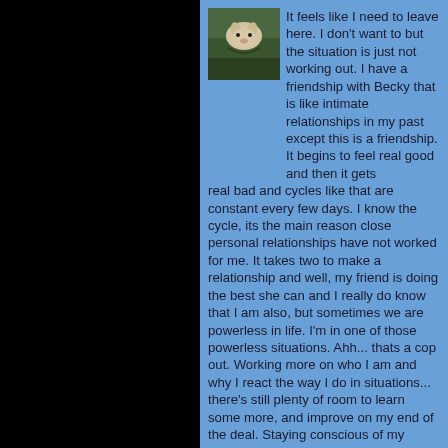[Figure (photo): Small photo of a dog or animal outdoors on grass]
It feels like I need to leave here. I don't want to but the situation is just not working out. I have a friendship with Becky that is like intimate relationships in my past except this is a friendship. It begins to feel real good and then it gets real bad and cycles like that are constant every few days. I know the cycle, its the main reason close personal relationships have not worked for me. It takes two to make a relationship and well, my friend is doing the best she can and I really do know that I am also, but sometimes we are powerless in life. I'm in one of those powerless situations. Ahh... thats a cop out. Working more on who I am and why I react the way I do in situations... there's still plenty of room to learn some more, and improve on my end of the deal. Staying conscious of my thought and actions has been a full time job and still... sometimes it comes down to when all is said and done, I can't really complain about anything, I've had a great run. Its just that I would like to not have to